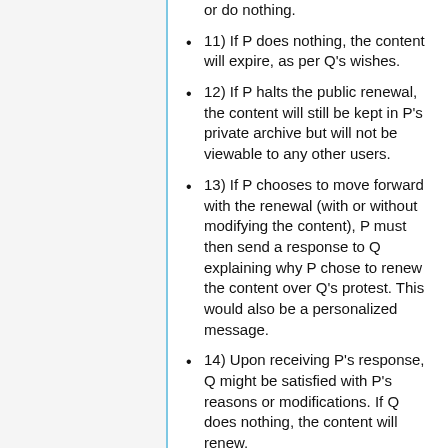or do nothing.
11) If P does nothing, the content will expire, as per Q's wishes.
12) If P halts the public renewal, the content will still be kept in P's private archive but will not be viewable to any other users.
13) If P chooses to move forward with the renewal (with or without modifying the content), P must then send a response to Q explaining why P chose to renew the content over Q's protest. This would also be a personalized message.
14) Upon receiving P's response, Q might be satisfied with P's reasons or modifications. If Q does nothing, the content will renew.
15) If Q is partially dissatisfied with P's response, Q could chose to add